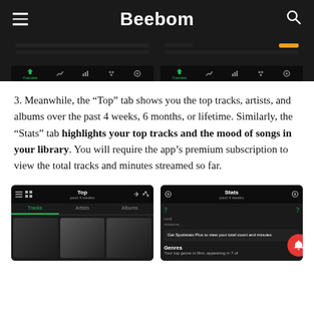Beebom
[Figure (screenshot): Two mobile app screenshots showing Spotify stats app overview screens with dark navigation bars]
3. Meanwhile, the “Top” tab shows you the top tracks, artists, and albums over the past 4 weeks, 6 months, or lifetime. Similarly, the “Stats” tab highlights your top tracks and the mood of songs in your library. You will require the app’s premium subscription to view the total tracks and minutes streamed so far.
[Figure (screenshot): Two mobile app screenshots: left shows Top tab with Tracks/Artists/Albums and album art thumbnails; right shows Stats tab with Get Spotistats Plus prompt and Genres section]